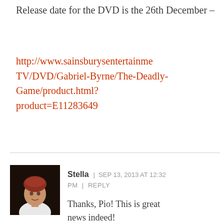Release date for the DVD is the 26th December –
http://www.sainsburysentertainment.TV/DVD/Gabriel-Byrne/The-Deadly-Game/product.html?product=E11283649
[Figure (photo): Avatar/profile image of user Stella — a painted or illustrated portrait of a figure with reddish hair and white clothing against a dark background]
Stella  |  SEP 13, 2013 AT 12:32 PM  |  REPLY
Thanks, Pio! This is great news indeed!
Sorry you are having trouble with the Forum. If you